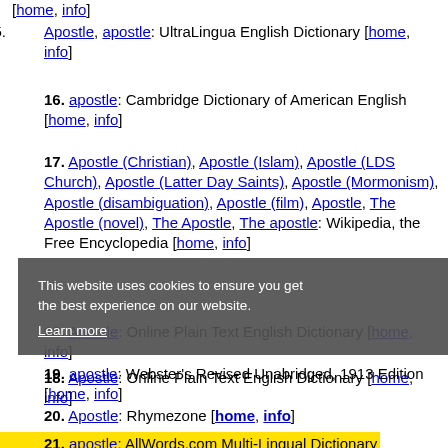[home, info]
15. Apostle, apostle: UltraLingua English Dictionary [home, info]
16. apostle: Cambridge Dictionary of American English [home, info]
17. Apostle (Christian), Apostle (Islam), Apostle (LDS Church), Apostle (Latter Day Saints), Apostle (Mormonism), Apostle (disambiguation), Apostle (film), Apostle, The Apostle (novel), The Apostle, The apostle: Wikipedia, the Free Encyclopedia [home, info]
18. Apostle: Online Plain Text English Dictionary [home, info]
19. apostle: Webster's Revised Unabridged, 1913 Edition [home, info]
20. Apostle: Rhymezone [home, info]
21. apostle: AllWords.com Multi-Lingual Dictionary [home, info]
22. apostle: Webster's 1828 Dictionary [home, info]